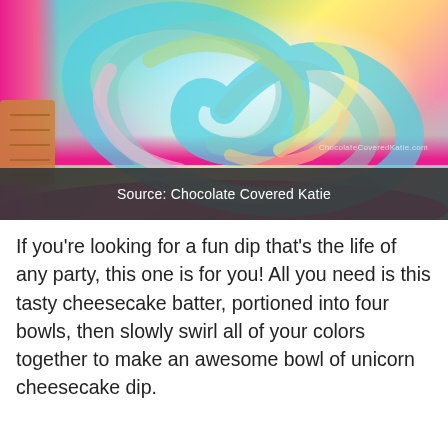[Figure (photo): Colorful rainbow/unicorn swirled cheesecake dip in a pink bowl with graham crackers, with watermark 'ChocolateCoveredKatie.com']
Source: Chocolate Covered Katie
If you're looking for a fun dip that's the life of any party, this one is for you! All you need is this tasty cheesecake batter, portioned into four bowls, then slowly swirl all of your colors together to make an awesome bowl of unicorn cheesecake dip.